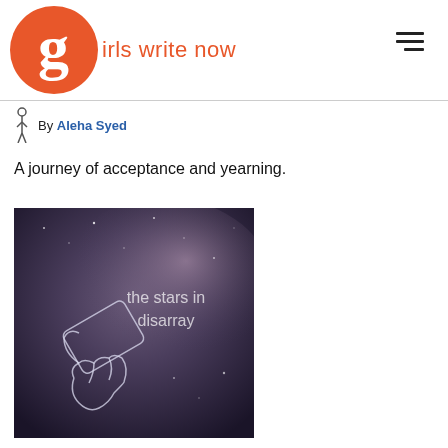girls write now
By Aleha Syed
A journey of acceptance and yearning.
[Figure (illustration): Book cover illustration showing a glowing hand holding a smartphone against a dark purple/blue starry night sky background, with text 'the stars in disarray' overlaid in white.]